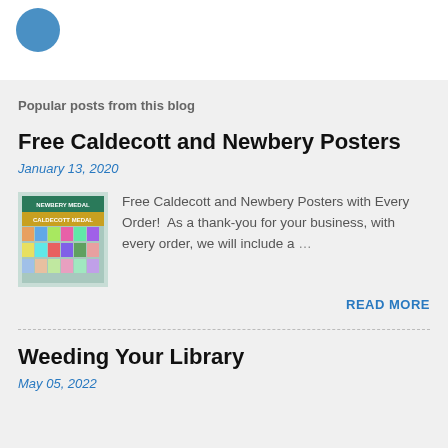[Figure (logo): Circular blue logo icon in top left corner]
Popular posts from this blog
Free Caldecott and Newbery Posters
January 13, 2020
[Figure (photo): Thumbnail image of Caldecott and Newbery medal posters]
Free Caldecott and Newbery Posters with Every Order!  As a thank-you for your business, with every order, we will include a …
READ MORE
Weeding Your Library
May 05, 2022